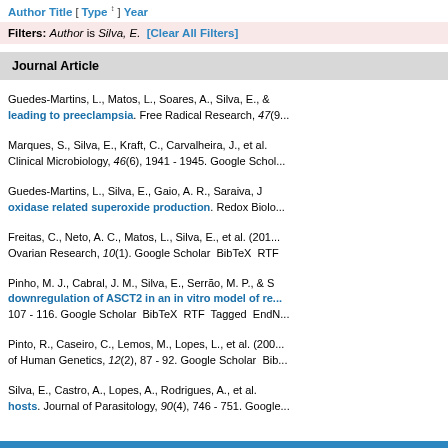Author Title [Type] Year
Filters: Author is Silva, E. [Clear All Filters]
Journal Article
Guedes-Martins, L., Matos, L., Soares, A., Silva, E., & ... leading to preeclampsia. Free Radical Research, 47(9...
Marques, S., Silva, E., Kraft, C., Carvalheira, J., et al. ... Clinical Microbiology, 46(6), 1941 - 1945. Google Scholar
Guedes-Martins, L., Silva, E., Gaio, A. R., Saraiva, J ... oxidase related superoxide production. Redox Biolo...
Freitas, C., Neto, A. C., Matos, L., Silva, E., et al. (201... Ovarian Research, 10(1). Google Scholar BibTeX RTF
Pinho, M. J., Cabral, J. M., Silva, E., Serrão, M. P., & S ... downregulation of ASCT2 in an in vitro model of re... 107 - 116. Google Scholar BibTeX RTF Tagged EndN...
Pinto, R., Caseiro, C., Lemos, M., Lopes, L., et al. (200... of Human Genetics, 12(2), 87 - 92. Google Scholar Bib...
Silva, E., Castro, A., Lopes, A., Rodrigues, A., et al. ... hosts. Journal of Parasitology, 90(4), 746 - 751. Google...